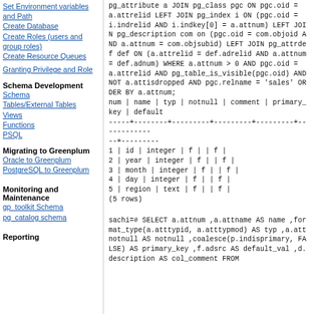Set Environment variables and Path
Create Database
Create Roles (users and group roles)
Create Resource Queues
Granting Privilege and Role
Schema Development
Schema
Tables/External Tables
Views
Functions
PSQL
Migrating to Greenplum
Oracle to Greenplum
PostgreSQL to Greenplum
Monitoring and Maintenance
gp_toolkit Schema
pg_catalog schema
Reporting
pg_attribute a JOIN pg_class pgc ON pgc.oid = a.attrelid LEFT JOIN pg_index i ON (pgc.oid = i.indrelid AND i.indkey[0] = a.attnum) LEFT JOIN pg_description com on (pgc.oid = com.objoid AND a.attnum = com.objsubid) LEFT JOIN pg_attrdef def ON (a.attrelid = def.adrelid AND a.attnum = def.adnum) WHERE a.attnum > 0 AND pgc.oid = a.attrelid AND pg_table_is_visible(pgc.oid) AND NOT a.attisdropped AND pgc.relname = 'sales' ORDER BY a.attnum;
num | name | typ | notnull | comment | primary_key | default
-----+--------+---------+---------+---------+------------
--+---------
1 | id | integer | f | | f |
2 | year | integer | f | | f |
3 | month | integer | f | | f |
4 | day | integer | f | | f |
5 | region | text | f | | f |
(5 rows)
sachi=# SELECT a.attnum ,a.attname AS name ,format_type(a.atttypid, a.atttypmod) AS typ ,a.attnotnull AS notnull ,coalesce(p.indisprimary, FALSE) AS primary_key ,f.adsrc AS default_val ,d.description AS col_comment FROM